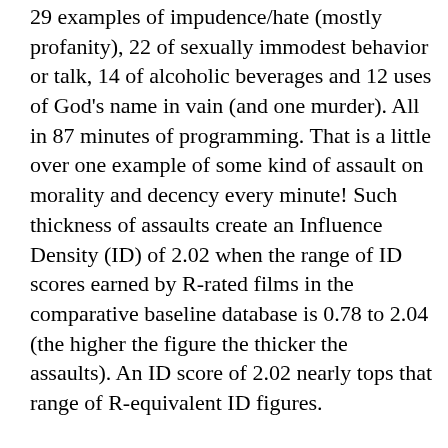29 examples of impudence/hate (mostly profanity), 22 of sexually immodest behavior or talk, 14 of alcoholic beverages and 12 uses of God's name in vain (and one murder). All in 87 minutes of programming. That is a little over one example of some kind of assault on morality and decency every minute! Such thickness of assaults create an Influence Density (ID) of 2.02 when the range of ID scores earned by R-rated films in the comparative baseline database is 0.78 to 2.04 (the higher the figure the thicker the assaults). An ID score of 2.02 nearly tops that range of R-equivalent ID figures.
The film is not that graphic or odious. But there are so many examples of lesser moral assault that the magnitude or total envelope of the film content is